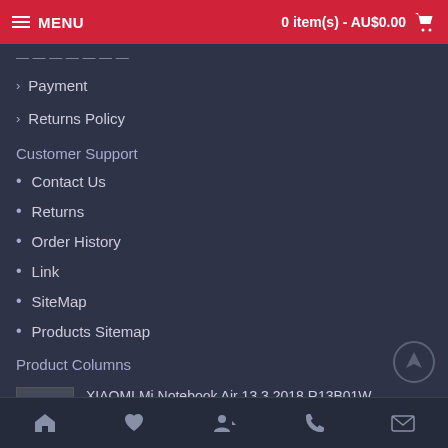MENU | 0 item(s) - AU$0.00
> Payment
> Returns Policy
Customer Support
Contact Us
Returns
Order History
Link
SiteMap
Products Sitemap
Product Columns
XIAOMI Mi Notebook Air 13.3 2018 R13B01W R13B02W Battery
AU$77.15
★★★★★
Dyson V11 Absolute V11 Animal Li-ion Vacuum
Home | Wishlist | Account | Phone | Email